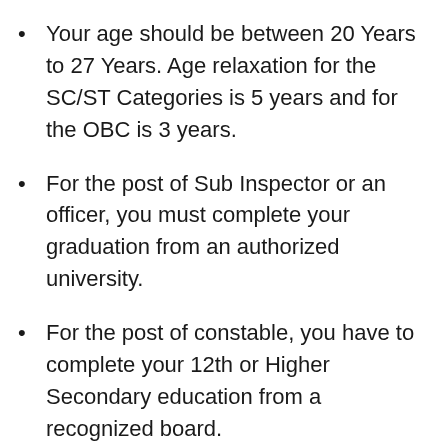Your age should be between 20 Years to 27 Years. Age relaxation for the SC/ST Categories is 5 years and for the OBC is 3 years.
For the post of Sub Inspector or an officer, you must complete your graduation from an authorized university.
For the post of constable, you have to complete your 12th or Higher Secondary education from a recognized board.
Apart from this, you have to crack the Indian Civil Services entrance examination that is conducted by the